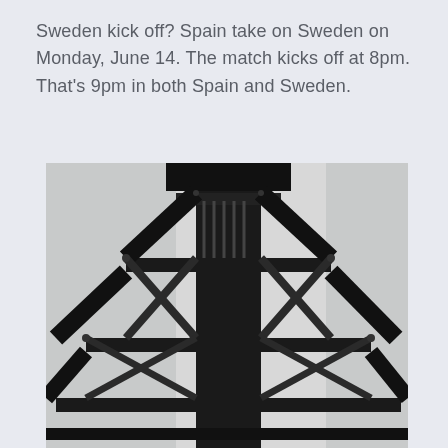Sweden kick off? Spain take on Sweden on Monday, June 14. The match kicks off at 8pm. That's 9pm in both Spain and Sweden.
[Figure (photo): Black and white photograph taken from below looking up at a large steel lattice bridge or tower structure. The image shows intricate cross-braced metalwork with diagonal beams forming X patterns, against a light grey sky.]